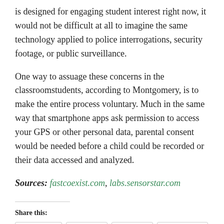is designed for engaging student interest right now, it would not be difficult at all to imagine the same technology applied to police interrogations, security footage, or public surveillance.
One way to assuage these concerns in the classroomstudents, according to Montgomery, is to make the entire process voluntary. Much in the same way that smartphone apps ask permission to access your GPS or other personal data, parental consent would be needed before a child could be recorded or their data accessed and analyzed.
Sources: fastcoexist.com, labs.sensorstar.com
Share this:
LinkedIn  Twitter  Reddit  Facebook